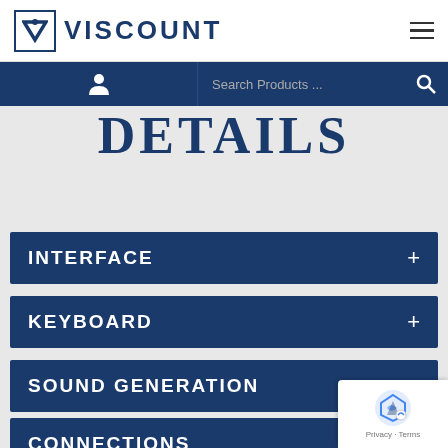[Figure (logo): Viscount brand logo with a stylized V in a box followed by VISCOUNT text in dark blue, with hamburger menu icon on right]
[Figure (screenshot): Dark blue navigation bar with user icon on left side and Search Products search field on right side with magnifier icon]
DETAILS
INTERFACE
KEYBOARD
SOUND GENERATION
CONNECTIONS